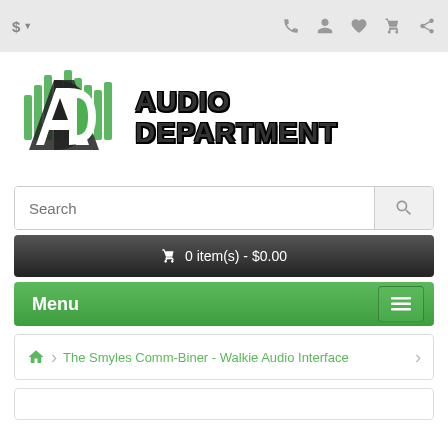$ ▾  [phone] [user▾] [heart] [cart] [share]
[Figure (logo): Audio Department logo: green bar-chart icon with AD letters and 'AUDIO DEPARTMENT' bold text]
Search
🛒 0 item(s) - $0.00
Menu ≡
🏠 › The Smyles Comm-Biner - Walkie Audio Interface